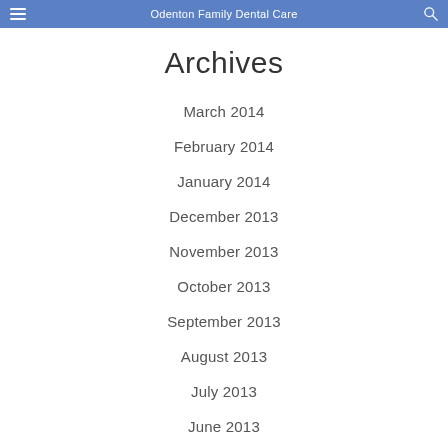Odenton Family Dental Care
Archives
March 2014
February 2014
January 2014
December 2013
November 2013
October 2013
September 2013
August 2013
July 2013
June 2013
May 2013